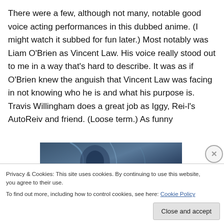There were a few, although not many, notable good voice acting performances in this dubbed anime. (I might watch it subbed for fun later.) Most notably was Liam O'Brien as Vincent Law. His voice really stood out to me in a way that's hard to describe. It was as if O'Brien knew the anguish that Vincent Law was facing in not knowing who he is and what his purpose is. Travis Willingham does a great job as Iggy, Rei-l's AutoReiv and friend. (Loose term.) As funny
[Figure (photo): Partial anime screenshot showing a dark blue-toned character image, partially obscured by the cookie consent banner.]
Privacy & Cookies: This site uses cookies. By continuing to use this website, you agree to their use.
To find out more, including how to control cookies, see here: Cookie Policy
Close and accept